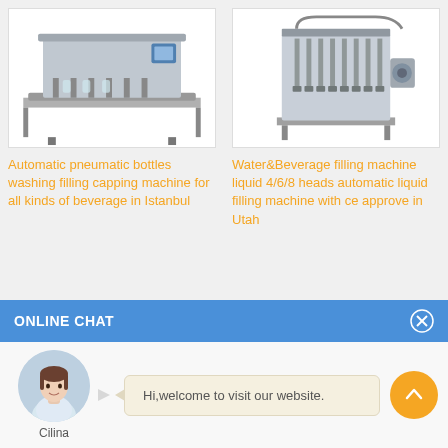[Figure (photo): Industrial automatic pneumatic bottle washing filling capping machine, silver/grey colored, with conveyor system]
[Figure (photo): Water and beverage liquid filling machine with multiple heads (4/6/8), silver/grey industrial machinery]
Automatic pneumatic bottles washing filling capping machine for all kinds of beverage in Istanbul
Water&Beverage filling machine liquid 4/6/8 heads automatic liquid filling machine with ce approve in Utah
ONLINE CHAT
[Figure (photo): Avatar photo of a young woman named Cilina, customer service representative]
Hi,welcome to visit our website.
Cilina